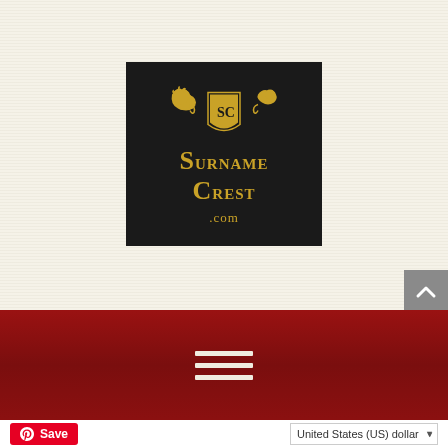[Figure (logo): SurnameCrest.com logo: dark/black background with gold heraldic crest (two lions flanking a shield with SC initials), gold serif text reading 'Surname Crest' and '.com' below]
[Figure (other): Gray scroll-to-top button with upward-pointing arrow (^), positioned at right side]
[Figure (other): Dark red navigation bar with three-line hamburger menu icon in white/cream color]
[Figure (other): Pinterest Save button (red with P icon and 'Save' text)]
United States (US) dollar